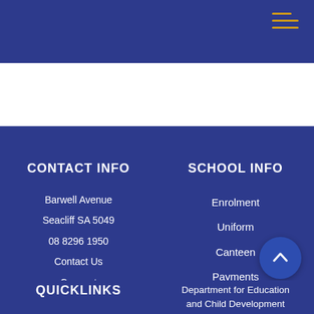CONTACT INFO
Barwell Avenue
Seacliff SA 5049
08 8296 1950
Contact Us
Connect
SCHOOL INFO
Enrolment
Uniform
Canteen
Payments
QUICKLINKS
Department for Education and Child Development